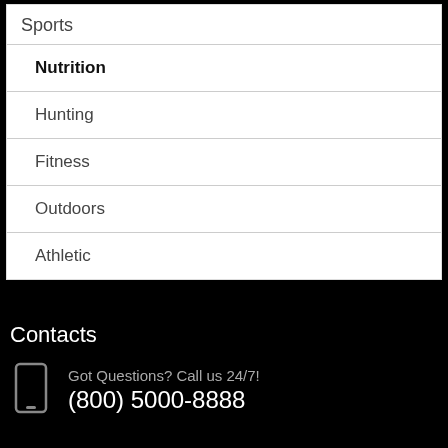Sports
Nutrition
Hunting
Fitness
Outdoors
Athletic
Contacts
Got Questions? Call us 24/7!
(800) 5000-8888